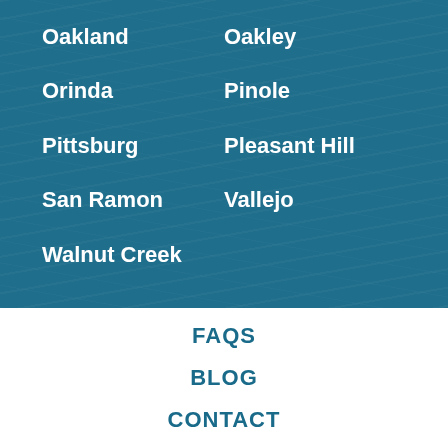Oakland
Oakley
Orinda
Pinole
Pittsburg
Pleasant Hill
San Ramon
Vallejo
Walnut Creek
FAQS
BLOG
CONTACT